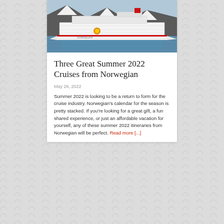[Figure (photo): A large white Norwegian cruise ship with red and gold decorative markings and a sun logo on the hull, sailing in icy blue water with snow-covered rocky mountains in the background.]
Three Great Summer 2022 Cruises from Norwegian
May 26, 2022
Summer 2022 is looking to be a return to form for the cruise industry. Norwegian's calendar for the season is pretty stacked. If you're looking for a great gift, a fun shared experience, or just an affordable vacation for yourself, any of these summer 2022 itineraries from Norwegian will be perfect. Read more [...]